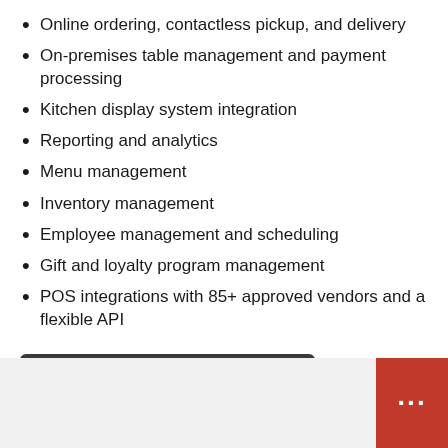Online ordering, contactless pickup, and delivery
On-premises table management and payment processing
Kitchen display system integration
Reporting and analytics
Menu management
Inventory management
Employee management and scheduling
Gift and loyalty program management
POS integrations with 85+ approved vendors and a flexible API
Explore Simphony Point of Sale
Explore all $1POS Hardware